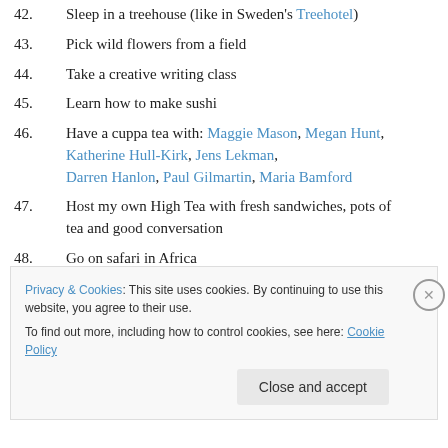42. Sleep in a treehouse (like in Sweden's Treehotel)
43. Pick wild flowers from a field
44. Take a creative writing class
45. Learn how to make sushi
46. Have a cuppa tea with: Maggie Mason, Megan Hunt, Katherine Hull-Kirk, Jens Lekman, Darren Hanlon, Paul Gilmartin, Maria Bamford
47. Host my own High Tea with fresh sandwiches, pots of tea and good conversation
48. Go on safari in Africa
49. Gather the courage (despite my horrendous physical...
Privacy & Cookies: This site uses cookies. By continuing to use this website, you agree to their use. To find out more, including how to control cookies, see here: Cookie Policy